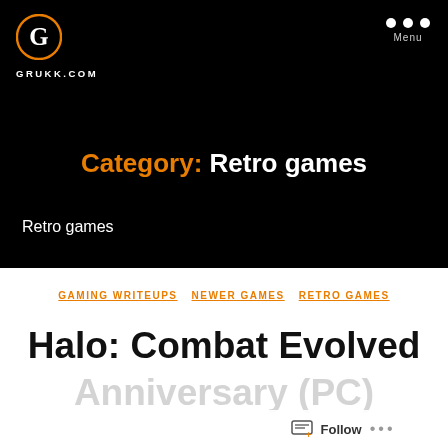GRUKK.COM
Category: Retro games
Retro games
GAMING WRITEUPS  NEWER GAMES  RETRO GAMES
Halo: Combat Evolved Anniversary (PC)